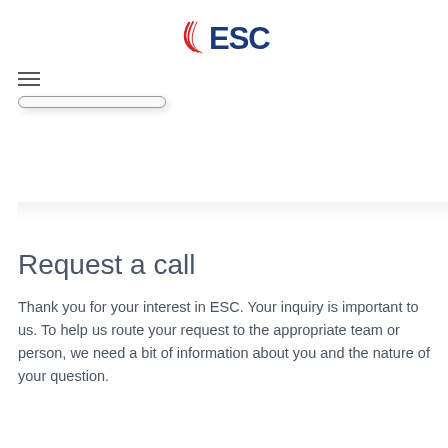[Figure (logo): ESC logo with red and blue swoosh/flag design and bold blue ESC text]
[Figure (screenshot): Hamburger menu icon (three horizontal lines) in top left corner]
[Figure (screenshot): A rounded rectangle button with shadow indicating a UI element partially cropped]
Request a call
Thank you for your interest in ESC. Your inquiry is important to us. To help us route your request to the appropriate team or person, we need a bit of information about you and the nature of your question.